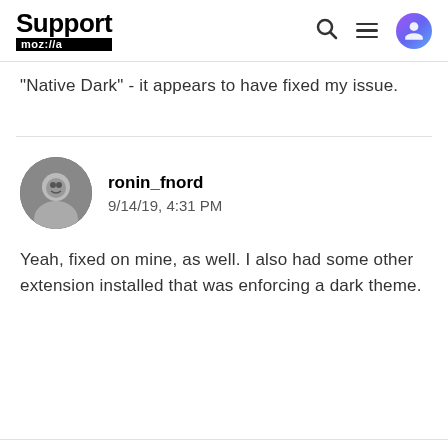Support mozilla// [with search, menu, and avatar icons]
"Native Dark" - it appears to have fixed my issue.
ronin_fnord
9/14/19, 4:31 PM
Yeah, fixed on mine, as well. I also had some other extension installed that was enforcing a dark theme.